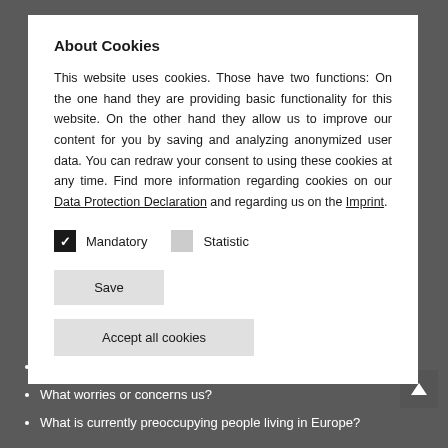About Cookies
This website uses cookies. Those have two functions: On the one hand they are providing basic functionality for this website. On the other hand they allow us to improve our content for you by saving and analyzing anonymized user data. You can redraw your consent to using these cookies at any time. Find more information regarding cookies on our Data Protection Declaration and regarding us on the Imprint.
Mandatory (checked), Statistic (unchecked)
Save
Accept all cookies
How has our daily life changed?
What worries or concerns us?
What is currently preoccupying people living in Europe?